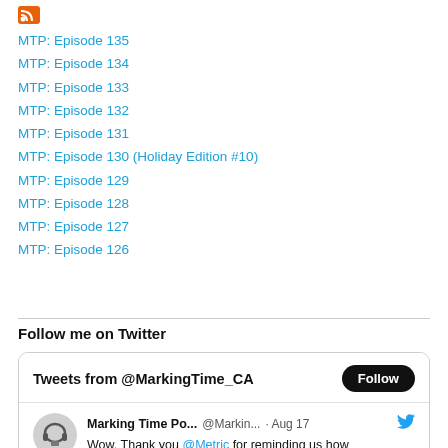[Figure (logo): RSS orange feed icon]
MTP: Episode 135
MTP: Episode 134
MTP: Episode 133
MTP: Episode 132
MTP: Episode 131
MTP: Episode 130 (Holiday Edition #10)
MTP: Episode 129
MTP: Episode 128
MTP: Episode 127
MTP: Episode 126
Follow me on Twitter
[Figure (screenshot): Twitter widget showing Tweets from @MarkingTime_CA with a Follow button and a tweet from Marking Time Po... @Markin... Aug 17 with text: Wow. Thank you @Metric for reminding us how]